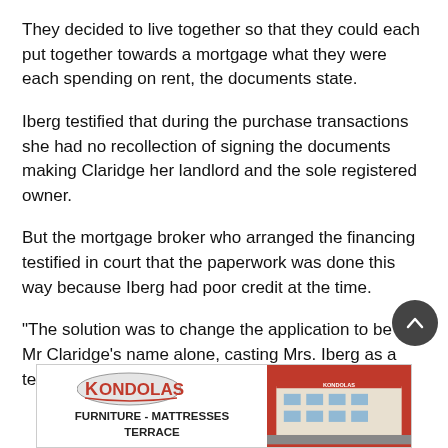They decided to live together so that they could each put together towards a mortgage what they were each spending on rent, the documents state.
Iberg testified that during the purchase transactions she had no recollection of signing the documents making Claridge her landlord and the sole registered owner.
But the mortgage broker who arranged the financing testified in court that the paperwork was done this way because Iberg had poor credit at the time.
“The solution was to change the application to be in Mr Claridge’s name alone, casting Mrs. Iberg as a tenant in
[Figure (logo): Kondolas Furniture - Mattresses Terrace advertisement banner with logo and store photo]